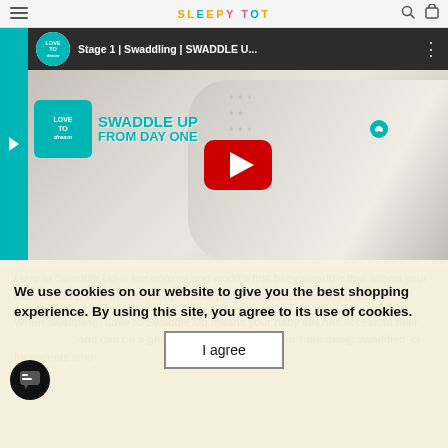[Figure (screenshot): Mobile browser screenshot showing a YouTube video embed on the Sleepy Tot website. The video title is 'Stage 1 | Swaddling | SWADDLE U...' with a Love To Dream channel icon. The video thumbnail shows a baby swaddled in a Love To Dream Swaddle Up product with the text 'SWADDLE UP FROM DAY ONE'. A YouTube play button is overlaid on the video. Below the video is a beige/cream background section with partially visible body text about 'Love to Swaddle Up is the original and world's first baby swaddle...' overlaid by a cookie consent dialog.]
Love to Swaddle Up is the original and world's first baby swaddle that allows your baby to sleep with their arms up. It was previously called the Wrap Me Up.
When swaddling, Love to Swaddle Up means your baby still has access to their hands and can be a great solution for babies who 'hate being swaddled' or for parents who
We use cookies on our website to give you the best shopping experience. By using this site, you agree to its use of cookies.